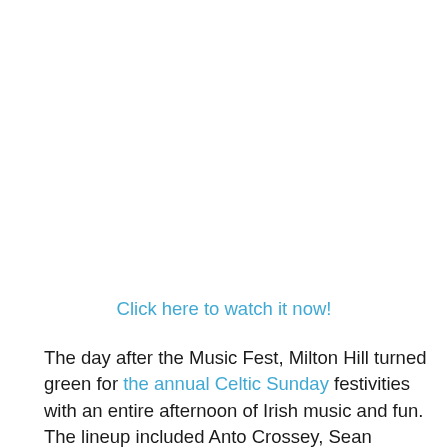Click here to watch it now!
The day after the Music Fest, Milton Hill turned green for the annual Celtic Sunday festivities with an entire afternoon of Irish music and fun. The lineup included Anto Crossey, Sean O'Toole, Colm O'Brien, Erin's Melody, The Fenian Sons, Curragh's Fancy, Bonnie Borlin, Wells, The Young Wolfe...